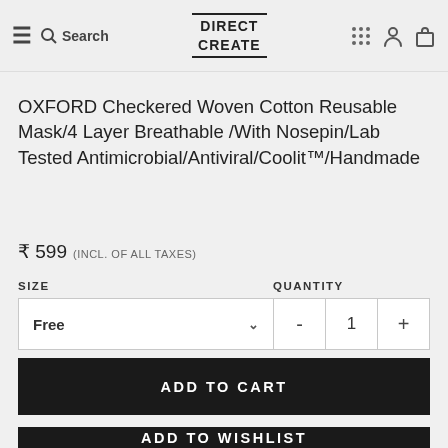Search | DIRECT CREATE
OXFORD Checkered Woven Cotton Reusable Mask/4 Layer Breathable /With Nosepin/Lab Tested Antimicrobial/Antiviral/Coolit™/Handmade
₹ 599 (INCL. OF ALL TAXES)
SIZE: Free  QUANTITY: - 1 +
ADD TO CART
ADD TO WISHLIST